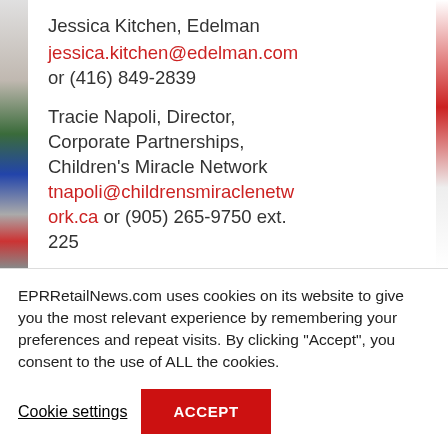Jessica Kitchen, Edelman
jessica.kitchen@edelman.com
or (416) 849-2839

Tracie Napoli, Director, Corporate Partnerships, Children's Miracle Network
tnapoli@childrensmiraclenetwork.ca or (905) 265-9750 ext. 225
EPRRetailNews.com uses cookies on its website to give you the most relevant experience by remembering your preferences and repeat visits. By clicking “Accept”, you consent to the use of ALL the cookies.